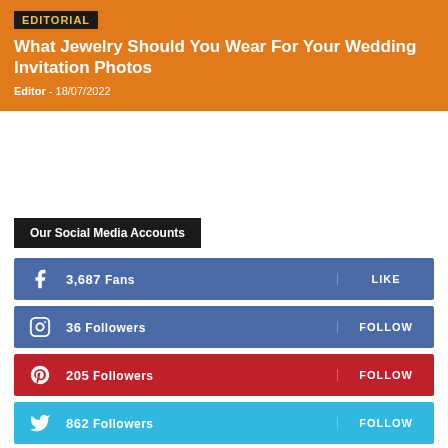EDITORIAL
What Jewelry Should You Wear For Your Wedding Invitation Photos
Editor - 18/07/2022
Our Social Media Accounts
3,687  Fans  LIKE
36  Followers  FOLLOW
205  Followers  FOLLOW
862  Followers  FOLLOW
24  Subscribers  SUBSCRIBE